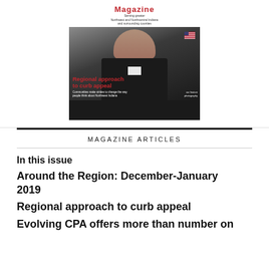[Figure (photo): Magazine cover showing a man in a dark suit standing in front of an American flag. Cover text reads 'Regional approach to curb appeal' in red and 'Communities make strides to change the way people think about Northwest Indiana'. Magazine title visible at top. Byline mentions photographer/subject name.]
MAGAZINE ARTICLES
In this issue
Around the Region: December-January 2019
Regional approach to curb appeal
Evolving CPA offers more than number on